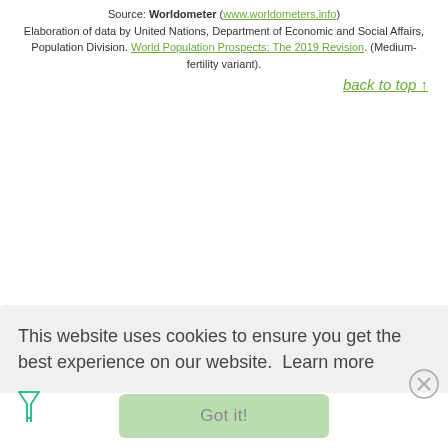Source: Worldometer (www.worldometers.info) Elaboration of data by United Nations, Department of Economic and Social Affairs, Population Division. World Population Prospects: The 2019 Revision. (Medium-fertility variant).
back to top ↑
This website uses cookies to ensure you get the best experience on our website. Learn more
Got it!